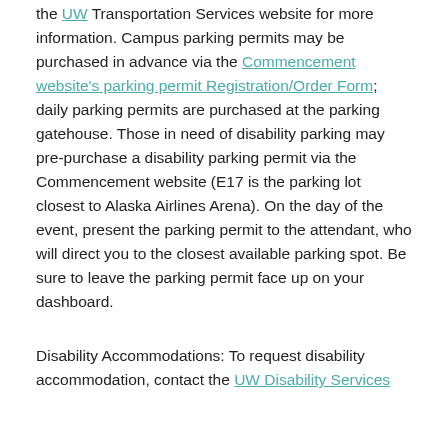the UW Transportation Services website for more information. Campus parking permits may be purchased in advance via the Commencement website's parking permit Registration/Order Form; daily parking permits are purchased at the parking gatehouse. Those in need of disability parking may pre-purchase a disability parking permit via the Commencement website (E17 is the parking lot closest to Alaska Airlines Arena). On the day of the event, present the parking permit to the attendant, who will direct you to the closest available parking spot. Be sure to leave the parking permit face up on your dashboard.
Disability Accommodations: To request disability accommodation, contact the UW Disability Services